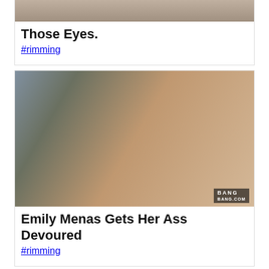[Figure (photo): Partial top of first card image, cropped at top]
Those Eyes.
#rimming
[Figure (photo): Emily Menas photo with BANG branding watermark]
Emily Menas Gets Her Ass Devoured
#rimming
[Figure (photo): Lana Rhoades photo, partially visible]
Lana Rhoades Eats